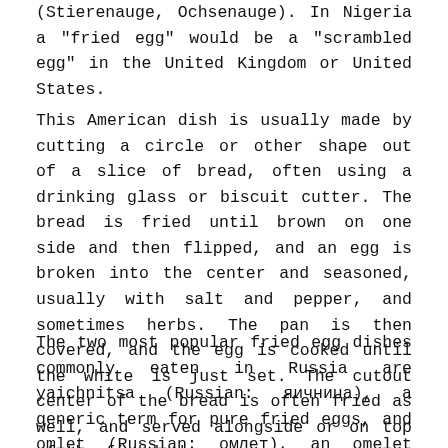(Stierenauge, Ochsenauge). In Nigeria a "fried egg" would be a "scrambled egg" in the United Kingdom or United States.
This American dish is usually made by cutting a circle or other shape out of a slice of bread, often using a drinking glass or biscuit cutter. The bread is fried until brown on one side and then flipped, and an egg is broken into the center and seasoned, usually with salt and pepper, and sometimes herbs. The pan is then covered, and the egg is cooked until the white is just set. The cutout center of the bread is often fried as well, and served alongside or on top of the finished egg.
The two most popular fried egg dishes commonly eaten in Russia are yaichnitsa (Russian: яичница), a generic term for pure fried eggs, and omlet (Russian: омлет), an omelet distinguished from simple eggs by addition of milk or other